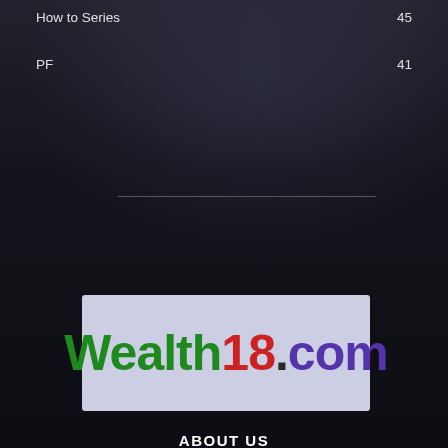How to Series    45
PF    41
[Figure (photo): Dark background with subtle city/financial imagery, decorative divider line visible in upper middle section]
[Figure (logo): Wealth18.com logo on light lavender background. 'Wealth' in green, '18' in red, '.' in dark, 'com' in purple.]
ABOUT US
Wealth18.com is personal finance blog to help others around investment, taxation, insurance topics.
Contact us: contact@wealth18.com